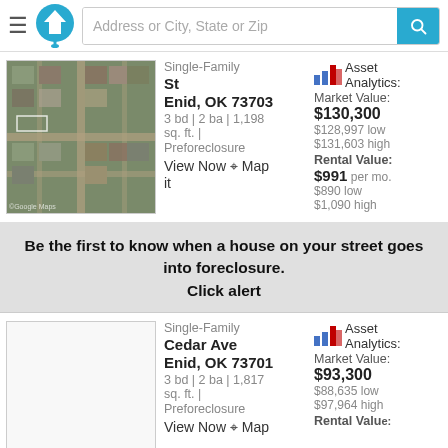Address or City, State or Zip
[Figure (screenshot): Satellite aerial view of residential neighborhood in Enid, OK]
Single-Family
St
Enid, OK 73703
3 bd | 2 ba | 1,198 sq. ft. | Preforeclosure
View Now Map it
Asset Analytics:
Market Value: $130,300
$128,997 low
$131,603 high
Rental Value: $991 per mo.
$890 low
$1,090 high
Be the first to know when a house on your street goes into foreclosure.
Click alert
[Figure (photo): Empty white placeholder thumbnail for second listing]
Single-Family
Cedar Ave
Enid, OK 73701
3 bd | 2 ba | 1,817 sq. ft. | Preforeclosure
View Now Map
Asset Analytics:
Market Value: $93,300
$88,635 low
$97,964 high
Rental Value: